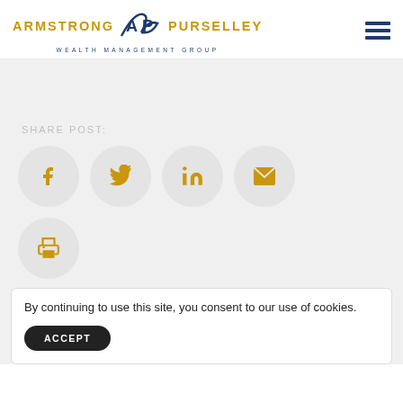[Figure (logo): Armstrong Purselley Wealth Management Group logo with AP emblem in navy blue, company name in gold letters, and tagline in navy spaced capitals]
SHARE POST:
[Figure (infographic): Four social sharing icon circles in light gray: Facebook (f), Twitter (bird), LinkedIn (in), Email (envelope), and a fifth circle with a print icon below]
By continuing to use this site, you consent to our use of cookies.
ACCEPT